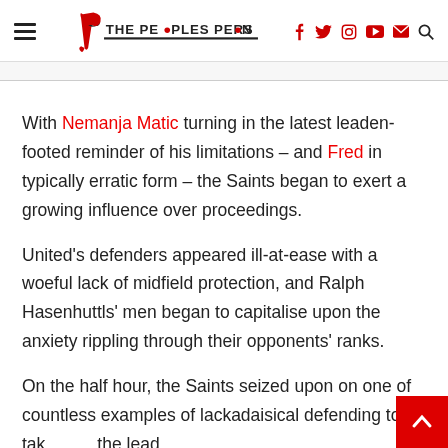The Peoples Person
With Nemanja Matic turning in the latest leaden-footed reminder of his limitations – and Fred in typically erratic form – the Saints began to exert a growing influence over proceedings.
United's defenders appeared ill-at-ease with a woeful lack of midfield protection, and Ralph Hasenhuttls' men began to capitalise upon the anxiety rippling through their opponents' ranks.
On the half hour, the Saints seized upon on one of countless examples of lackadaisical defending to take the lead.